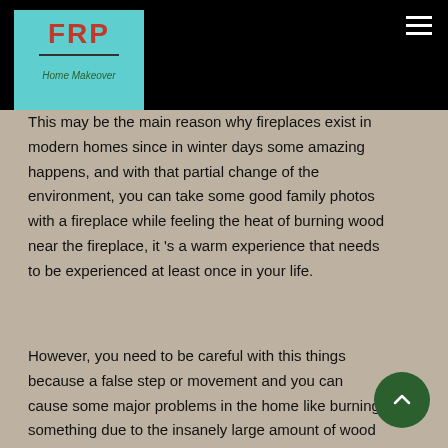[Figure (logo): FRP Home Makeover logo — teal background with red bold FRP text, a horizontal line, and green handwritten 'Home Makeover' subtitle]
This may be the main reason why fireplaces exist in modern homes since in winter days some amazing happens, and with that partial change of the environment, you can take some good family photos with a fireplace while feeling the heat of burning wood near the fireplace, it 's a warm experience that needs to be experienced at least once in your life.
However, you need to be careful with this things because a false step or movement and you can cause some major problems in the home like burning something due to the insanely large amount of wood that you added in the fireplace to burn. Unlike